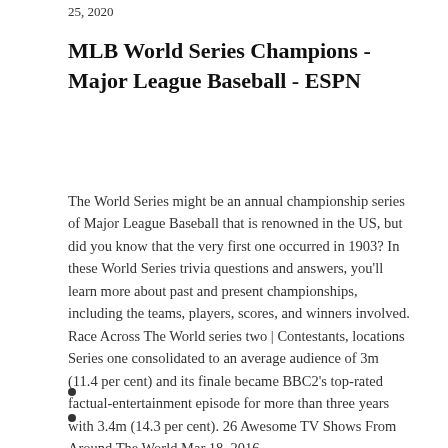25, 2020
MLB World Series Champions - Major League Baseball - ESPN
The World Series might be an annual championship series of Major League Baseball that is renowned in the US, but did you know that the very first one occurred in 1903? In these World Series trivia questions and answers, you'll learn more about past and present championships, including the teams, players, scores, and winners involved. Race Across The World series two | Contestants, locations Series one consolidated to an average audience of 3m (11.4 per cent) and its finale became BBC2's top-rated factual-entertainment episode for more than three years with 3.4m (14.3 per cent). 26 Awesome TV Shows From Around The World Mar 18, 2016